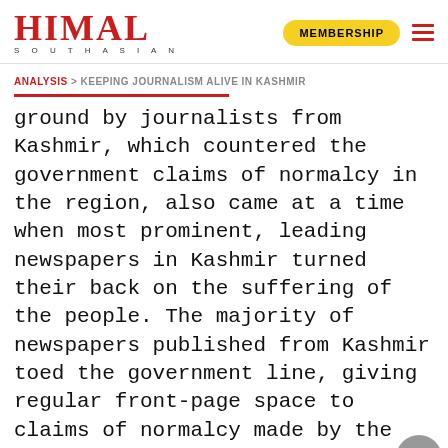HIMAL SOUTHASIAN — MEMBERSHIP
ANALYSIS > KEEPING JOURNALISM ALIVE IN KASHMIR
ground by journalists from Kashmir, which countered the government claims of normalcy in the region, also came at a time when most prominent, leading newspapers in Kashmir turned their back on the suffering of the people. The majority of newspapers published from Kashmir toed the government line, giving regular front-page space to claims of normalcy made by the government functionaries.
The unprecedented communications shutdown's